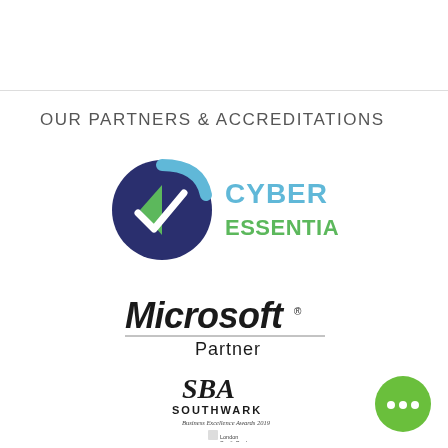OUR PARTNERS & ACCREDITATIONS
[Figure (logo): Cyber Essentials logo — dark navy circle with green and white checkmark, with 'CYBER ESSENTIALS' text in blue-green]
[Figure (logo): Microsoft Partner logo — bold italic 'Microsoft' with registered mark, horizontal rule, 'Partner' text below]
[Figure (logo): SBA Southwark Business Excellence Awards 2019 logo with London South Bank University crest]
[Figure (illustration): Green circle chat bubble icon with three dots (live chat button)]